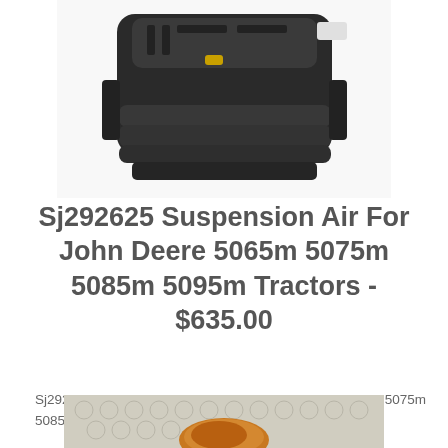[Figure (photo): Black tractor suspension seat air cushion component viewed from above/side angle, showing air bag layers and mounting hardware]
Sj292625 Suspension Air For John Deere 5065m 5075m 5085m 5095m Tractors - $635.00
Sj292625 Suspension Air For John Deere 5065m 5075m 5085m 5095m Tractors
[Figure (photo): Partial view of a brown/amber colored tractor suspension component on bubble wrap packaging]